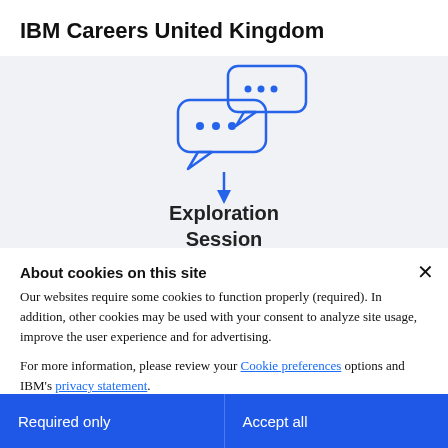IBM Careers United Kingdom
[Figure (illustration): Two speech bubbles with ellipsis (…) dots inside, representing a conversation or chat interface, drawn in blue outline style. Below the bubbles is a downward-pointing blue arrow. Below the arrow are the text labels 'Exploration' and 'Session'.]
About cookies on this site
Our websites require some cookies to function properly (required). In addition, other cookies may be used with your consent to analyze site usage, improve the user experience and for advertising.
For more information, please review your Cookie preferences options and IBM's privacy statement.